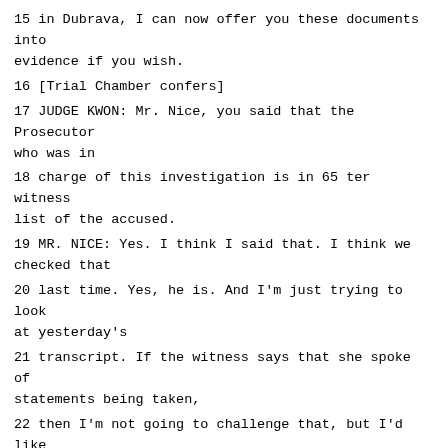15 in Dubrava, I can now offer you these documents into evidence if you wish.
16 [Trial Chamber confers]
17 JUDGE KWON: Mr. Nice, you said that the Prosecutor who was in
18 charge of this investigation is in 65 ter witness list of the accused.
19 MR. NICE: Yes. I think I said that. I think we checked that
20 last time. Yes, he is. And I'm just trying to look at yesterday's
21 transcript. If the witness says that she spoke of statements being taken,
22 then I'm not going to challenge that, but I'd like just to check it. But
23 even if she did volunteer it in answer to the very limited questioning
24 that I put of her, that doesn't let those statements in.
25 I haven't seen these statements that she's going to rely upon.